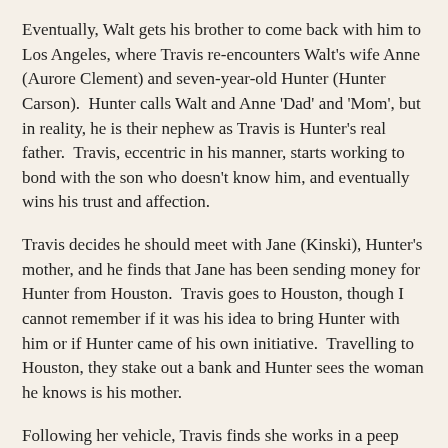Eventually, Walt gets his brother to come back with him to Los Angeles, where Travis re-encounters Walt's wife Anne (Aurore Clement) and seven-year-old Hunter (Hunter Carson).  Hunter calls Walt and Anne 'Dad' and 'Mom', but in reality, he is their nephew as Travis is Hunter's real father.  Travis, eccentric in his manner, starts working to bond with the son who doesn't know him, and eventually wins his trust and affection.
Travis decides he should meet with Jane (Kinski), Hunter's mother, and he finds that Jane has been sending money for Hunter from Houston.  Travis goes to Houston, though I cannot remember if it was his idea to bring Hunter with him or if Hunter came of his own initiative.  Travelling to Houston, they stake out a bank and Hunter sees the woman he knows is his mother.
Following her vehicle, Travis finds she works in a peep show, something Hunter is oblivious to.  Travis finds the right show and at first cannot bring himself to communicate with her.  He goes back the next time though, and bares his soul to Jane, who eventually realizes who he is as he recounts their story: the good, bad and ugly.  Telling her where Hunter is, Jane goes and sees her